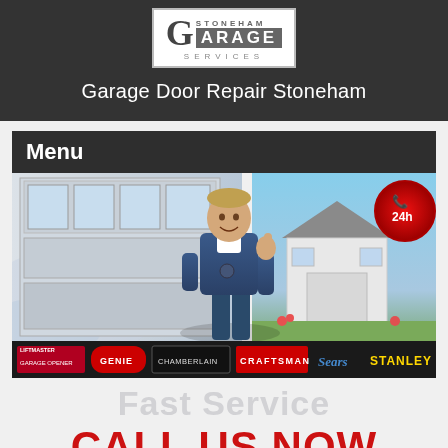[Figure (logo): Stoneham Garage Services logo — stylized G with ARAGE text on dark background, SERVICES below, white bordered box]
Garage Door Repair Stoneham
Menu
[Figure (photo): Composite banner image: garage door on left, smiling male technician in blue uniform giving thumbs up in center, white house with garage on right, red 24h phone badge in top right corner, brand logos bar at bottom (LiftMaster, Genie, Chamberlain, Craftsman, Sears, Stanley)]
Fast Service
CALL US NOW